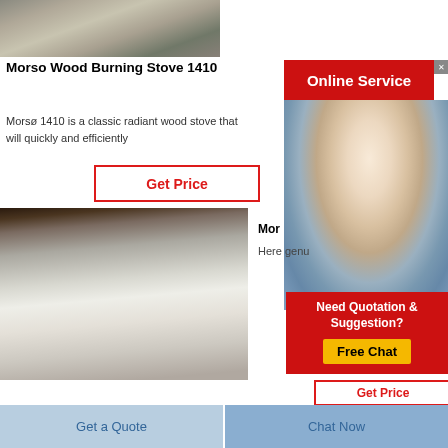[Figure (photo): Product photo of Morso wood burning stove components/firebricks stacked on a surface]
Morso Wood Burning Stove 1410
Morsø 1410 is a classic radiant wood stove that will quickly and efficiently
Get Price
[Figure (photo): Photo of white rectangular firebrick/refractory brick pieces on a light wooden surface]
[Figure (photo): Online Service banner with customer service agent wearing headset]
Mor
Here genu
Need Quotation & Suggestion? Free Chat
Get Price
Get a Quote
Chat Now